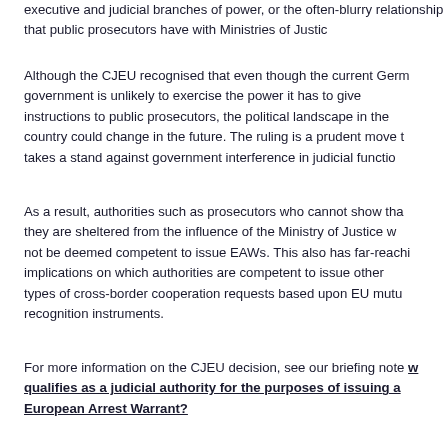executive and judicial branches of power, or the often-blurry relationship that public prosecutors have with Ministries of Justice.
Although the CJEU recognised that even though the current German government is unlikely to exercise the power it has to give instructions to public prosecutors, the political landscape in the country could change in the future. The ruling is a prudent move that takes a stand against government interference in judicial functions.
As a result, authorities such as prosecutors who cannot show that they are sheltered from the influence of the Ministry of Justice will not be deemed competent to issue EAWs. This also has far-reaching implications on which authorities are competent to issue other types of cross-border cooperation requests based upon EU mutual recognition instruments.
For more information on the CJEU decision, see our briefing note who qualifies as a judicial authority for the purposes of issuing a European Arrest Warrant?